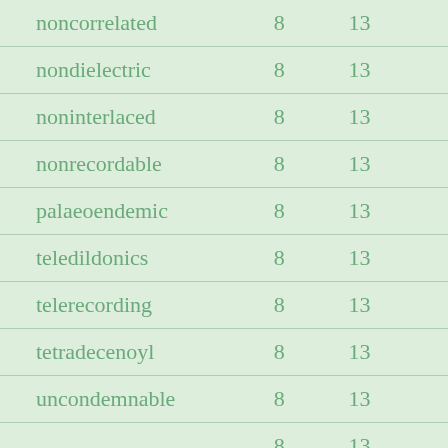| noncorrelated | 8 | 13 |
| nondielectric | 8 | 13 |
| noninterlaced | 8 | 13 |
| nonrecordable | 8 | 13 |
| palaeoendemic | 8 | 13 |
| teledildonics | 8 | 13 |
| telerecording | 8 | 13 |
| tetradecenoyl | 8 | 13 |
| uncondemnable | 8 | 13 |
| ... | 8 | 13 |